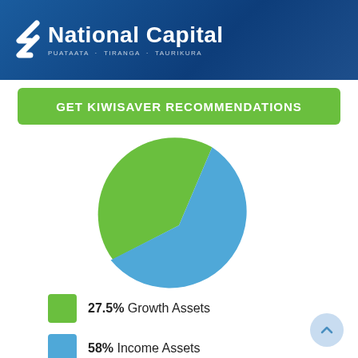[Figure (logo): National Capital logo with chevron mark and Maori subtitle text: PUATAATA · TIRANGA · TAURIKURA]
GET KIWISAVER RECOMMENDATIONS
[Figure (pie-chart): KiwiSaver Asset Allocation]
27.5% Growth Assets
58% Income Assets